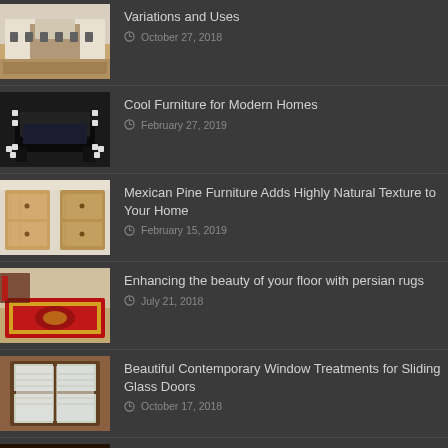Variations and Uses
October 27, 2018
Cool Furniture for Modern Homes
February 27, 2019
Mexican Pine Furniture Adds Highly Natural Texture to Your Home
February 15, 2019
Enhancing the beauty of your floor with persian rugs
July 21, 2018
Beautiful Contemporary Window Treatments for Sliding Glass Doors
October 17, 2018
Light Shades: get the best